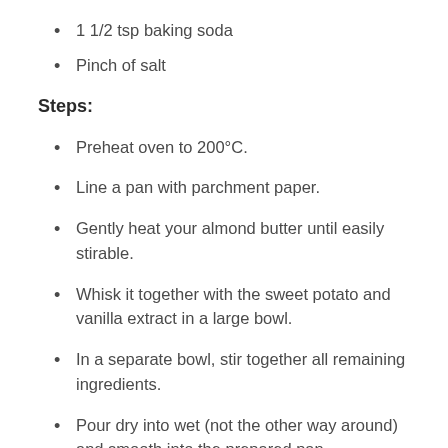1 1/2 tsp baking soda
Pinch of salt
Steps:
Preheat oven to 200°C.
Line a pan with parchment paper.
Gently heat your almond butter until easily stirable.
Whisk it together with the sweet potato and vanilla extract in a large bowl.
In a separate bowl, stir together all remaining ingredients.
Pour dry into wet (not the other way around) and smooth into the prepared pan.
Use a second sheet of parchment to smooth it